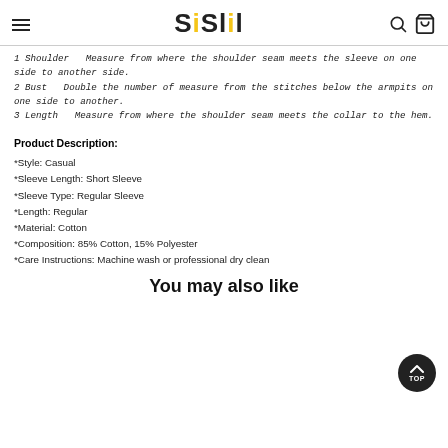Sislil
1 Shoulder  Measure from where the shoulder seam meets the sleeve on one side to another side.
2 Bust  Double the number of measure from the stitches below the armpits on one side to another.
3 Length  Measure from where the shoulder seam meets the collar to the hem.
Product Description:
*Style: Casual
*Sleeve Length: Short Sleeve
*Sleeve Type: Regular Sleeve
*Length: Regular
*Material: Cotton
*Composition: 85% Cotton, 15% Polyester
*Care Instructions: Machine wash or professional dry clean
You may also like